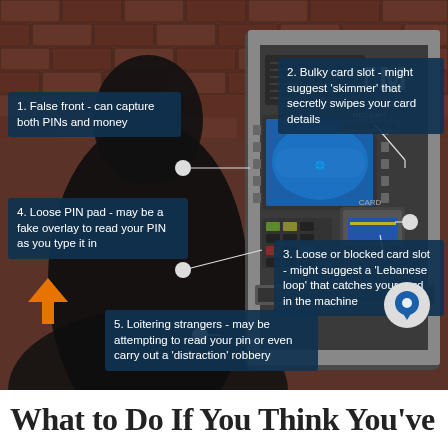[Figure (infographic): ATM skimming fraud infographic showing an ATM machine with a shadowy figure beside it, and 5 labeled callout boxes pointing to different parts of the ATM explaining fraud risks: false front, bulky card slot/skimmer, loose/blocked card slot, loose PIN pad, and loitering strangers.]
1. False front - can capture both PINs and money
2. Bulky card slot - might suggest 'skimmer' that secretly swipes your card details
3. Loose or blocked card slot - might suggest a 'Lebanese loop' that catches your card in the machine
4. Loose PIN pad - may be a fake overlay to read your PIN as you type it in
5. Loitering strangers - may be attempting to read your pin or even carry out a 'distraction' robbery
What to Do If You Think You've